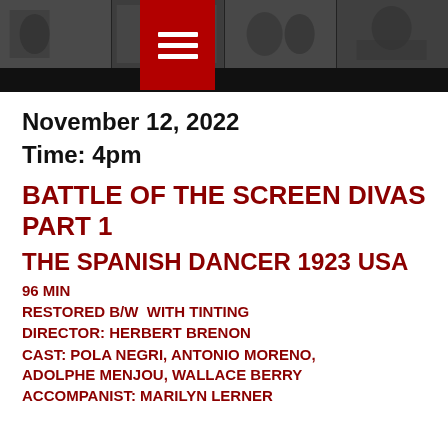[Figure (photo): Header strip of black and white film stills with a red box containing a hamburger menu icon overlaid on the left portion]
November 12, 2022
Time: 4pm
BATTLE OF THE SCREEN DIVAS PART 1
THE SPANISH DANCER 1923 USA
96 MIN
RESTORED B/W  WITH TINTING
DIRECTOR: HERBERT BRENON
CAST: POLA NEGRI, ANTONIO MORENO, ADOLPHE MENJOU, WALLACE BERRY
ACCOMPANIST: MARILYN LERNER